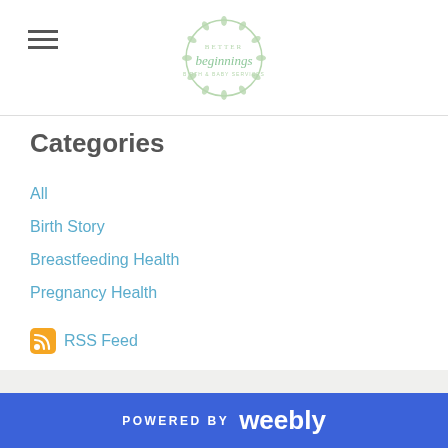Better Beginnings (logo)
Categories
All
Birth Story
Breastfeeding Health
Pregnancy Health
RSS Feed
POWERED BY weebly